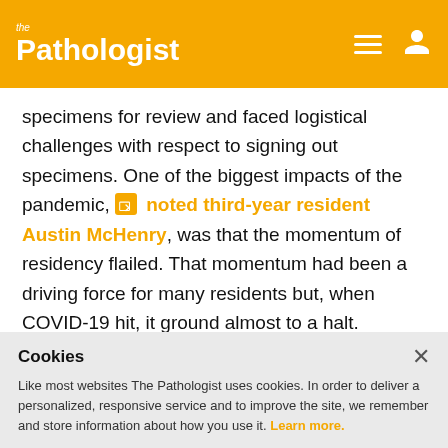the Pathologist
specimens for review and faced logistical challenges with respect to signing out specimens. One of the biggest impacts of the pandemic, noted third-year resident Austin McHenry, was that the momentum of residency flailed. That momentum had been a driving force for many residents but, when COVID-19 hit, it ground almost to a halt.
Now that we are moving into a world where we
Cookies
Like most websites The Pathologist uses cookies. In order to deliver a personalized, responsive service and to improve the site, we remember and store information about how you use it. Learn more.